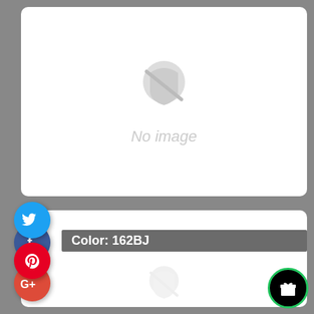[Figure (screenshot): Mobile app screenshot showing two white cards on a gray background. Top card has a 'No image' placeholder. Bottom card shows 'Color: 162BJ' label. Four social media icons (Facebook, Google+, Twitter, Pinterest) on the left side. A gift icon button in the bottom right corner.]
No image
Color: 162BJ